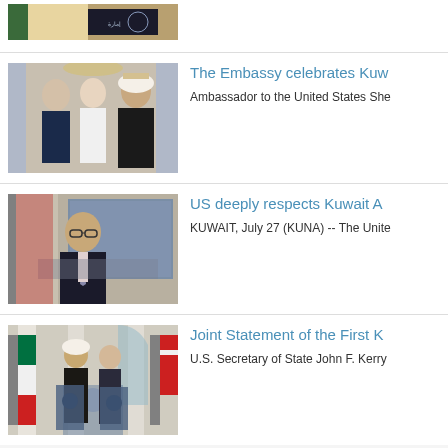[Figure (photo): Partial news item at top showing a figure in Kuwaiti traditional clothing with a seal/emblem visible]
[Figure (photo): Three people posing together — a man in a suit, a woman in white, and a man in traditional Kuwaiti dress, with American flags in the background]
The Embassy celebrates Kuw
Ambassador to the United States She
[Figure (photo): A man in a dark suit with glasses and a tie seated in front of a blue and gold decorative background]
US deeply respects Kuwait A
KUWAIT, July 27 (KUNA) -- The Unite
[Figure (photo): Two officials at podiums with Kuwaiti and American flags, giving a press conference in a formal room]
Joint Statement of the First K
U.S. Secretary of State John F. Kerry